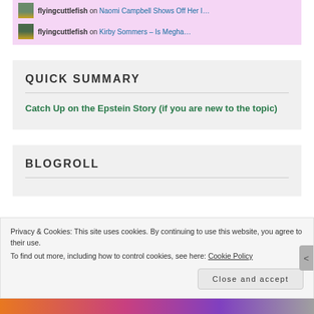flyingcuttlefish on Naomi Campbell Shows Off Her I...
flyingcuttlefish on Kirby Sommers – Is Megha...
QUICK SUMMARY
Catch Up on the Epstein Story (if you are new to the topic)
BLOGROLL
Privacy & Cookies: This site uses cookies. By continuing to use this website, you agree to their use.
To find out more, including how to control cookies, see here: Cookie Policy
Close and accept